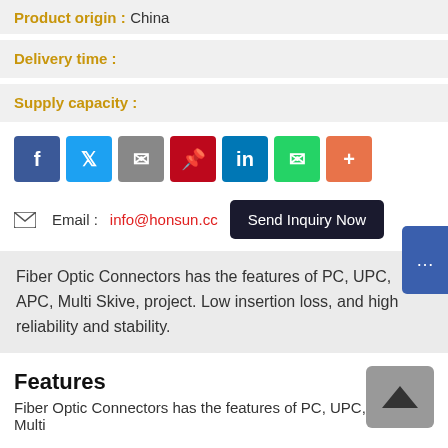Product origin : China
Delivery time :
Supply capacity :
[Figure (infographic): Social media share buttons: Facebook, Twitter, Email, Pinterest, LinkedIn, WhatsApp, More (+)]
Email : info@honsun.cc  Send Inquiry Now
Fiber Optic Connectors has the features of PC, UPC, APC, Multi Skive, project. Low insertion loss, and high reliability and stability.
Features
Fiber Optic Connectors has the features of PC, UPC, APC, Multi